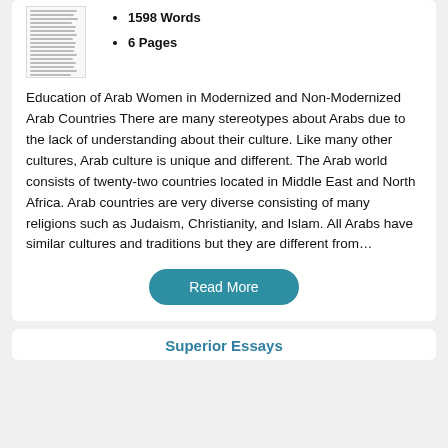[Figure (illustration): Thumbnail preview of a document page with text lines]
1598 Words
6 Pages
Education of Arab Women in Modernized and Non-Modernized Arab Countries There are many stereotypes about Arabs due to the lack of understanding about their culture. Like many other cultures, Arab culture is unique and different. The Arab world consists of twenty-two countries located in Middle East and North Africa. Arab countries are very diverse consisting of many religions such as Judaism, Christianity, and Islam. All Arabs have similar cultures and traditions but they are different from…
Read More
Superior Essays